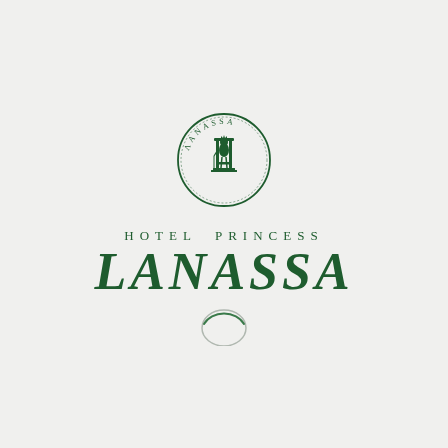[Figure (logo): Circular coin-like emblem with a seated figure (princess) and text 'LANASSA' around the border, in dark green ink]
HOTEL PRINCESS
LANASSA
[Figure (illustration): Small circle outline, like a ring or stamp impression, in light gray/green at bottom center of page]